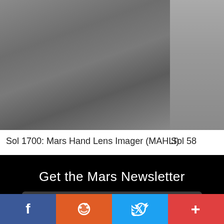[Figure (photo): Grayscale Mars surface image from MAHLI camera, showing rocky/dusty terrain]
Sol 1700: Mars Hand Lens Imager (MAHLI)
[Figure (photo): Partial grayscale Mars image, partially cropped, showing Sol 58]
Sol 58
Get the Mars Newsletter
enter email address